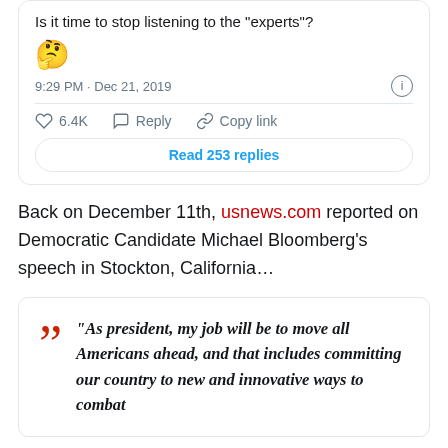[Figure (screenshot): Tweet card showing text 'Is it time to stop listening to the "experts"?' with thinking emoji, posted at 9:29 PM Dec 21, 2019, with 6.4K likes, Reply, Copy link actions, and Read 253 replies button]
Back on December 11th, usnews.com reported on Democratic Candidate Michael Bloomberg’s speech in Stockton, California…
[Figure (screenshot): Quote card with large red quotation marks and italic bold text: “As president, my job will be to move all Americans ahead, and that includes committing our country to new and innovative ways to combat]